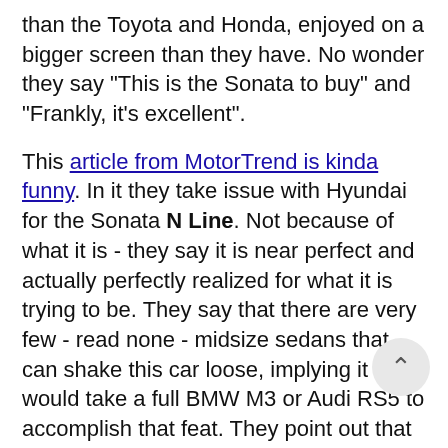than the Toyota and Honda, enjoyed on a bigger screen than they have. No wonder they say "This is the Sonata to buy" and "Frankly, it's excellent".
This article from MotorTrend is kinda funny. In it they take issue with Hyundai for the Sonata N Line. Not because of what it is - they say it is near perfect and actually perfectly realized for what it is trying to be. They say that there are very few - read none - midsize sedans that can shake this car loose, implying it would take a full BMW M3 or Audi RS5 to accomplish that feat. They point out that the Sonata is comfortable whereas the spicier version of the Camry rides hard as a rock. They call the N Line truly excellent. The issue that they have with Hyundai is that they didn;t make the car several thousand dollars